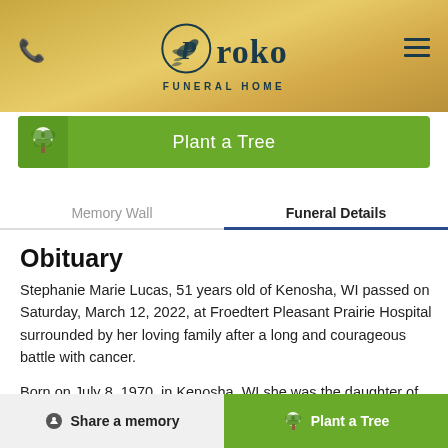Proko Funeral Home
[Figure (logo): Proko Funeral Home logo with dove/bird graphic inside a circle, teal/dark blue text on gold background]
Plant a Tree
Memory Wall	Funeral Details
Obituary
Stephanie Marie Lucas, 51 years old of Kenosha, WI passed on Saturday, March 12, 2022, at Froedtert Pleasant Prairie Hospital surrounded by her loving family after a long and courageous battle with cancer.
Born on July 8, 1970, in Kenosha, WI she was the daughter of Richard and Marie (Johnston) Blasi.
Share a memory	Plant a Tree